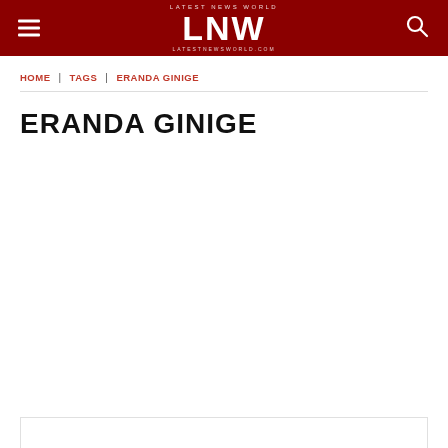LNW
HOME | TAGS | ERANDA GINIGE
ERANDA GINIGE